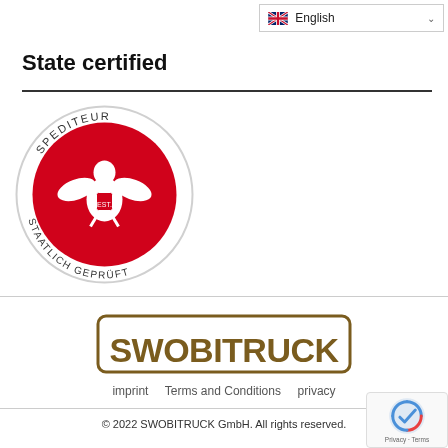English
State certified
[Figure (logo): Round certification seal with red background showing an Austrian eagle. Text around the circle reads: SPEDITEUR at the top and STAATLICH GEPRÜFT at the bottom.]
[Figure (logo): SWOBITRUCK company logo in brown/gold letters with a rounded rectangle border.]
imprint   Terms and Conditions   privacy
© 2022 SWOBITRUCK GmbH. All rights reserved.